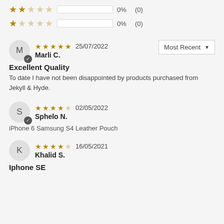[Figure (other): 2-star rating row: 2 filled stars, 3 empty stars, empty bar, 0%, (0)]
[Figure (other): 1-star rating row: 1 filled star, 4 empty stars, empty bar, 0%, (0)]
Most Recent ▼
[Figure (other): Review by Marli C. - 5 stars - 25/07/2022 - Excellent Quality]
Excellent Quality
To date I have not been disappointed by products purchased from Jekyll & Hyde.
[Figure (other): Review by Sphelo N. - 4 stars - 02/05/2022 - iPhone 6 Samsung S4 Leather Pouch]
iPhone 6 Samsung S4 Leather Pouch
[Figure (other): Review by Khalid S. - 4 stars - 16/05/2021 - Iphone SE]
Iphone SE